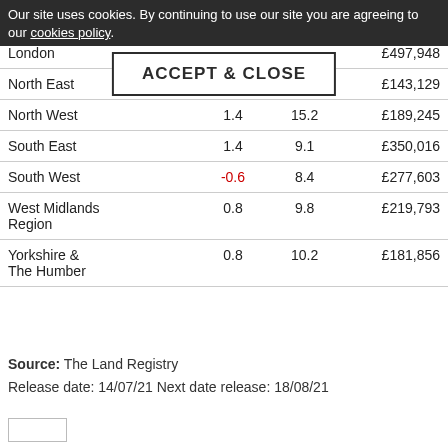| Region | Monthly % | Annual % | Average Price |
| --- | --- | --- | --- |
| East of England | -1.0 | -6.8 | £310,700 |
| England |  |  |  |
| London |  |  | £497,948 |
| North East | 1.4 | 11.8 | £143,129 |
| North West | 1.4 | 15.2 | £189,245 |
| South East | 1.4 | 9.1 | £350,016 |
| South West | -0.6 | 8.4 | £277,603 |
| West Midlands Region | 0.8 | 9.8 | £219,793 |
| Yorkshire & The Humber | 0.8 | 10.2 | £181,856 |
Source: The Land Registry
Release date: 14/07/21 Next date release: 18/08/21